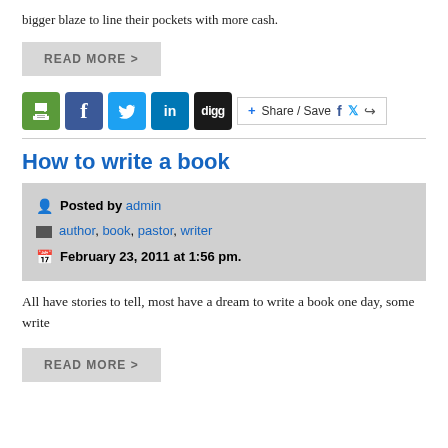bigger blaze to line their pockets with more cash.
READ MORE >
[Figure (other): Social media sharing icons: print (green), Facebook (blue), Twitter (light blue), LinkedIn (blue), Digg (black), and a Share/Save button with Facebook, Twitter, and share icons]
How to write a book
Posted by admin
author, book, pastor, writer
February 23, 2011 at 1:56 pm.
All have stories to tell, most have a dream to write a book one day, some write
READ MORE >